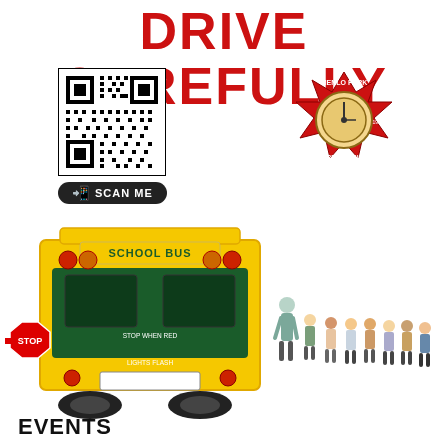DRIVE CAREFULLY
[Figure (other): QR code with SCAN ME button below it]
[Figure (logo): Menlo Park Fire District circular badge logo in red and gold]
[Figure (illustration): Rear view of a yellow school bus with a stop sign extended, and a line of children with an adult walking behind the bus]
EVENTS